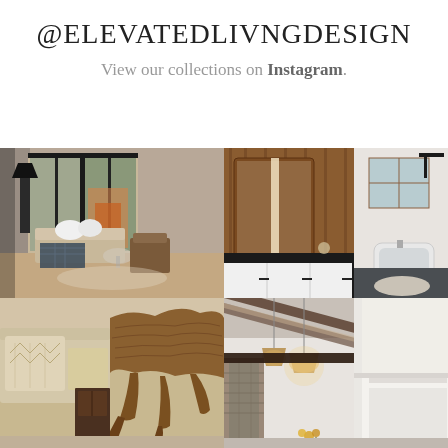@ELEVATEDLIVNGDESIGN
View our collections on Instagram.
[Figure (photo): Rustic interior living room with floor-to-ceiling dark-framed windows, leather and fabric seating, faux fur pillows, plaid blanket throw, and view of outdoor fireplace]
[Figure (photo): Rustic bathroom with wood-paneled walls, dark countertop vanity, white cabinets, large mirror, and separate soaking tub area with tile floor and cowhide rug]
[Figure (photo): Close-up of sofa corner with textured cream pillows and natural wood sculptural side table]
[Figure (photo): Modern interior with exposed wooden beam ceiling, pendant lighting, stone accent, and white architectural molding detail]